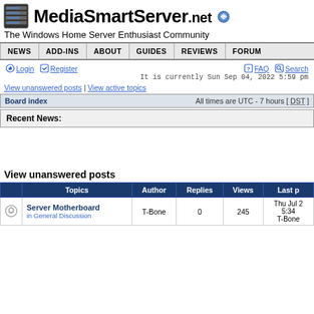[Figure (logo): MediaSmartServer.net logo with server rack icon and site name]
The Windows Home Server Enthusiast Community
[Figure (other): Navigation bar with NEWS, ADD-INS, ABOUT, GUIDES, REVIEWS, FORUM]
Login  Register  FAQ  Search
It is currently Sun Sep 04, 2022 5:59 pm
View unanswered posts | View active topics
Board index    All times are UTC - 7 hours [ DST ]
Recent News:
View unanswered posts
|  | Topics | Author | Replies | Views | Last p |
| --- | --- | --- | --- | --- | --- |
| (icon) | Server Motherboard
in General Discussion | T-Bone | 0 | 245 | Thu Jul 2
5:34
T-Bone |